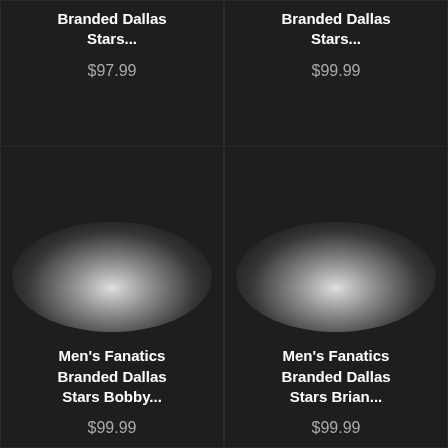Branded Dallas Stars...
$97.99
Branded Dallas Stars...
$99.99
[Figure (photo): Product image placeholder with glowing blob/shadow for Men's Fanatics Branded Dallas Stars Bobby... jersey]
Men's Fanatics Branded Dallas Stars Bobby...
$99.99
[Figure (photo): Product image placeholder with glowing blob/shadow for Men's Fanatics Branded Dallas Stars Brian... jersey]
Men's Fanatics Branded Dallas Stars Brian...
$99.99